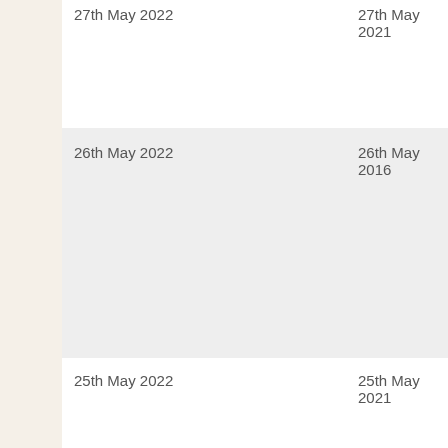| Date 2022 | Date Prior |
| --- | --- |
| 27th May 2022 | 27th May 2021 |
| 26th May 2022 | 26th May 2016 |
| 25th May 2022 | 25th May 2021 |